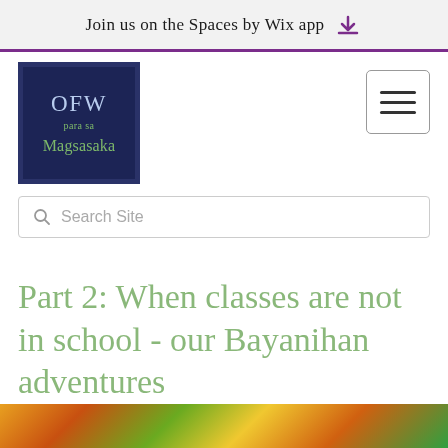Join us on the Spaces by Wix app
[Figure (logo): OFW para sa Magsasaka logo — dark navy blue square with white border, text 'OFW' in light blue, 'para sa' in green, 'Magsasaka' in green]
[Figure (other): Hamburger menu button — three horizontal lines in a rounded rectangle border]
Search Site
Part 2: When classes are not in school - our Bayanihan adventures
[Figure (photo): Partial bottom image strip showing colorful tropical scene with flowers and plants]